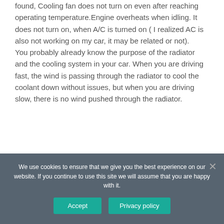found, Cooling fan does not turn on even after reaching operating temperature.Engine overheats when idling. It does not turn on, when A/C is turned on ( I realized AC is also not working on my car, it may be related or not).
You probably already know the purpose of the radiator and the cooling system in your car. When you are driving fast, the wind is passing through the radiator to cool the coolant down without issues, but when you are driving slow, there is no wind pushed through the radiator.
We use cookies to ensure that we give you the best experience on our website. If you continue to use this site we will assume that you are happy with it.